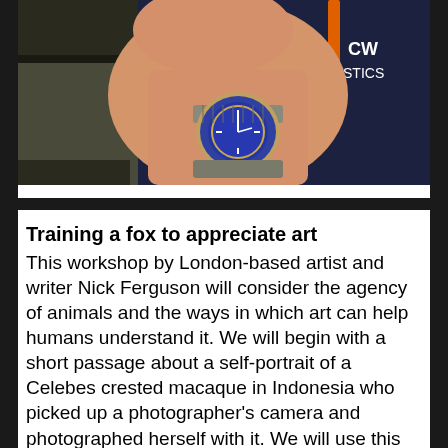[Figure (photo): Close-up photo of a person's arm/wrist wearing a watch with a blue dial and a metal bracelet. The person is wearing a dark navy sweatshirt with an orange lanyard visible. The sweatshirt has white text showing 'CW' and 'ISTICS' (partial text, likely 'OCW LOGISTICS'). Background shows shelving or equipment.]
Training a fox to appreciate art
This workshop by London-based artist and writer Nick Ferguson will consider the agency of animals and the ways in which art can help humans understand it. We will begin with a short passage about a self-portrait of a Celebes crested macaque in Indonesia who picked up a photographer's camera and photographed herself with it. We will use this passa… springboard